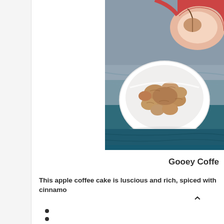[Figure (photo): Overhead photo showing a white bowl filled with walnuts, a sliced apple, on a dark teal/blue fabric background. Image is cropped on the right edge of the page.]
Gooey Coffe
This apple coffee cake is luscious and rich, spiced with cinnamo